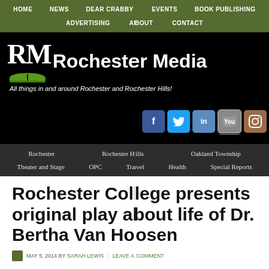HOME  NEWS  DEAR CRABBY  EVENTS  BOOK PUBLISHING  ADVERTISING  ABOUT  CONTACT
[Figure (logo): Rochester Media logo - RM with book icon and text 'Rochester Media - All things in and around Rochester and Rochester Hills!' on black background with social media icons (Facebook, Twitter, LinkedIn, YouTube, Instagram)]
Rochester  Rochester Hills  Oakland Township  Theater and Stage  OPC  Travel  Health  Special Reports
Rochester College presents original play about life of Dr. Bertha Van Hoosen
MAY 5, 2014 BY SARAH LEWIS  |  LEAVE A COMMENT